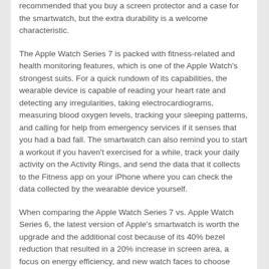recommended that you buy a screen protector and a case for the smartwatch, but the extra durability is a welcome characteristic.
The Apple Watch Series 7 is packed with fitness-related and health monitoring features, which is one of the Apple Watch's strongest suits. For a quick rundown of its capabilities, the wearable device is capable of reading your heart rate and detecting any irregularities, taking electrocardiograms, measuring blood oxygen levels, tracking your sleeping patterns, and calling for help from emergency services if it senses that you had a bad fall. The smartwatch can also remind you to start a workout if you haven't exercised for a while, track your daily activity on the Activity Rings, and send the data that it collects to the Fitness app on your iPhone where you can check the data collected by the wearable device yourself.
When comparing the Apple Watch Series 7 vs. Apple Watch Series 6, the latest version of Apple's smartwatch is worth the upgrade and the additional cost because of its 40% bezel reduction that resulted in a 20% increase in screen area, a focus on energy efficiency, and new watch faces to choose